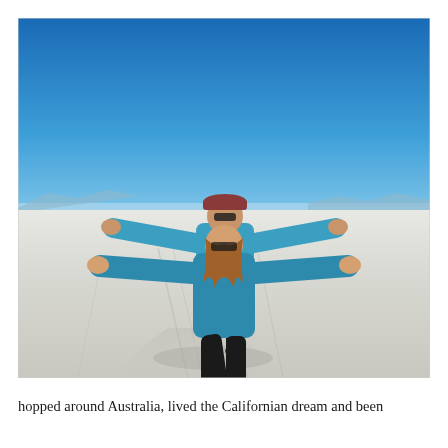[Figure (photo): Two people posing on a vast white salt flat under a clear blue sky. Both are wearing teal/blue jackets. The person in the back stands with arms outstretched wide, wearing a hat and sunglasses. The person in front also has arms outstretched, wearing sunglasses with long hair. Mountains are faintly visible on the horizon. The salt flat stretches to the horizon with tyre tracks visible.]
hopped around Australia, lived the Californian dream and been